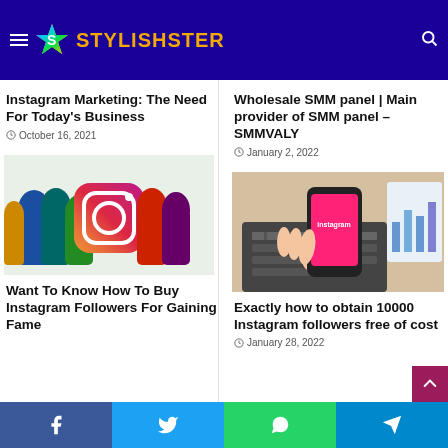[Figure (logo): Stylishster website logo with colorful star and orange text on dark blue navigation bar]
Instagram Marketing: The Need For Today's Business
October 16, 2021
Wholesale SMM panel | Main provider of SMM panel –SMMVALY
January 2, 2022
[Figure (photo): Colorful silhouettes of people with Instagram logo in center]
[Figure (photo): Hand holding phone with Instagram app open, laptop keyboard in background]
Want To Know How To Buy Instagram Followers For Gaining Fame
Exactly how to obtain 10000 Instagram followers free of cost
January 28, 2022
Facebook | Twitter | WhatsApp | Telegram